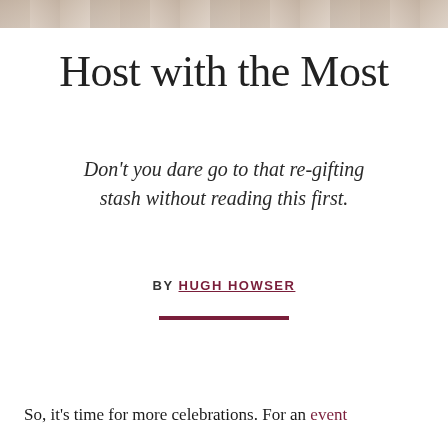[Figure (photo): A cropped photo strip at the top of the page showing a partial image, appears to be a celebration or event scene with warm, muted tones.]
Host with the Most
Don't you dare go to that re-gifting stash without reading this first.
BY HUGH HOWSER
So, it's time for more celebrations. For an event